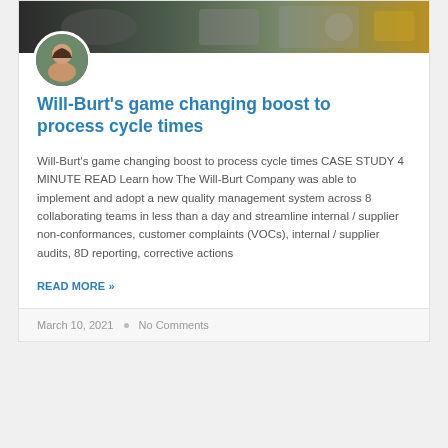[Figure (photo): Banner photo of industrial machinery/manufacturing equipment in a facility, dark tones with yellow accents]
[Figure (photo): Circular avatar photo of a smiling man]
Will-Burt's game changing boost to process cycle times
Will-Burt's game changing boost to process cycle times CASE STUDY 4 MINUTE READ Learn how The Will-Burt Company was able to implement and adopt a new quality management system across 8 collaborating teams in less than a day and streamline internal / supplier non-conformances, customer complaints (VOCs), internal / supplier audits, 8D reporting, corrective actions
READ MORE »
March 10, 2021  •  No Comments